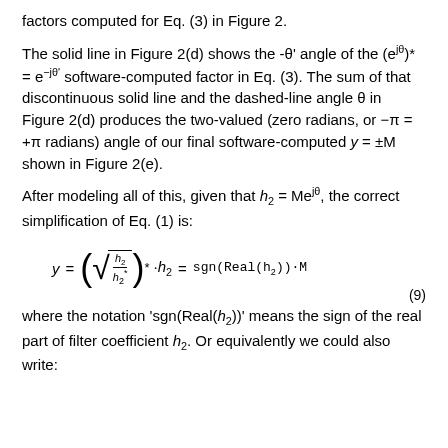factors computed for Eq. (3) in Figure 2.
The solid line in Figure 2(d) shows the -θ' angle of the (e^jθ)* = e^−jθ' software-computed factor in Eq. (3). The sum of that discontinuous solid line and the dashed-line angle θ in Figure 2(d) produces the two-valued (zero radians, or −π = +π radians) angle of our final software-computed y = ±M shown in Figure 2(e).
After modeling all of this, given that h₂ = Me^jθ, the correct simplification of Eq. (1) is:
where the notation 'sgn(Real(h₂))' means the sign of the real part of filter coefficient h₂. Or equivalently we could also write: